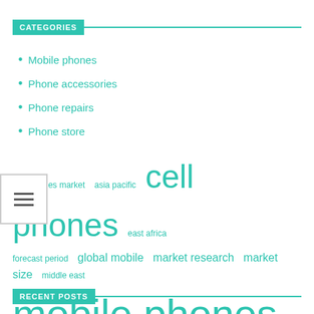CATEGORIES
Mobile phones
Phone accessories
Phone repairs
Phone store
[Figure (infographic): Tag cloud with teal-colored terms of varying font sizes: accessories market, asia pacific, cell phones (large), east africa, forecast period, global mobile, market research, market size, middle east, mobile phones (very large), north america, phone accessories (large), phone repair, phone store (large), united states]
RECENT POSTS